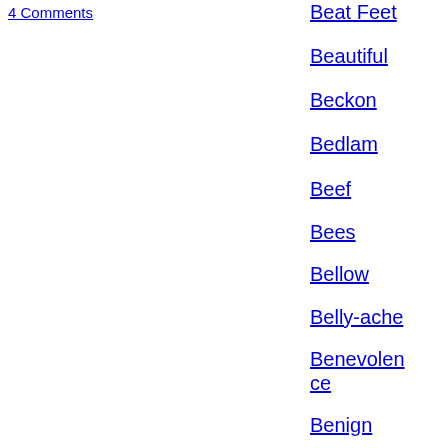4 Comments
Beat Feet
Beautiful
Beckon
Bedlam
Beef
Bees
Bellow
Belly-ache
Benevolence
Benign
Beret
Beriberi
Beth Kephart
Bias
Big Fish In A Small Pond
Bigger Fish To Fry
Big Idioms
Bison
Blab